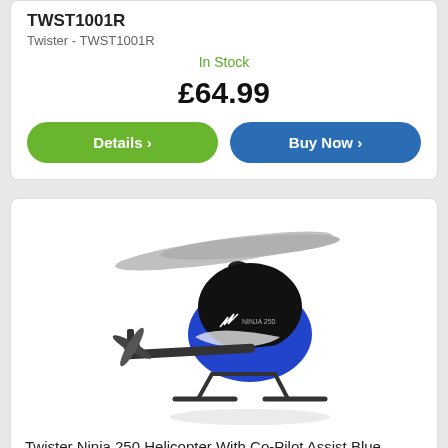TWST1001R
Twister - TWST1001R
In Stock
£64.99
Details >
Buy Now >
[Figure (photo): Blue and black Twister Ninja 250 RC helicopter with large main rotor blades and tail rotor on a white background]
Twister Ninja 250 Helicopter With Co-Pilot Assist Blue TWST1001B